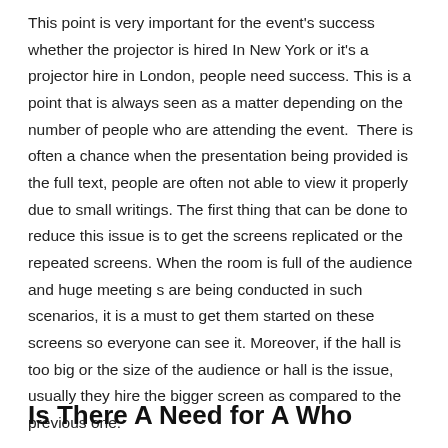This point is very important for the event's success whether the projector is hired In New York or it's a projector hire in London, people need success. This is a point that is always seen as a matter depending on the number of people who are attending the event.  There is often a chance when the presentation being provided is the full text, people are often not able to view it properly due to small writings. The first thing that can be done to reduce this issue is to get the screens replicated or the repeated screens. When the room is full of the audience and huge meeting s are being conducted in such scenarios, it is a must to get them started on these screens so everyone can see it. Moreover, if the hall is too big or the size of the audience or hall is the issue, usually they hire the bigger screen as compared to the previous one.
Is There A Need for A Who...